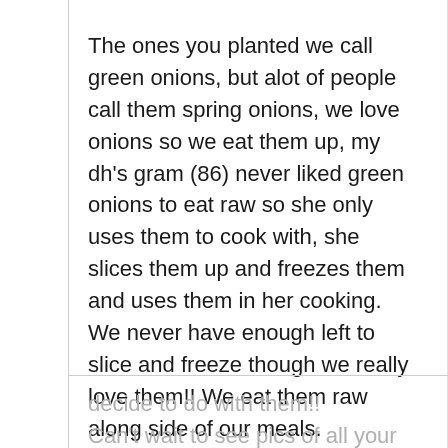The ones you planted we call green onions, but alot of people call them spring onions, we love onions so we eat them up, my dh's gram (86) never liked green onions to eat raw so she only uses them to cook with, she slices them up and freezes them and uses them in her cooking. We never have enough left to slice and freeze though we really love them!! We eat them raw along side of our meals.

Good luck with whatever you
decide to do with them!! Can't wait to see pics of all your